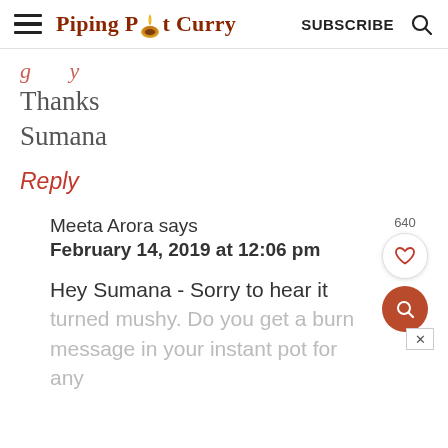Piping Pot Curry | SUBSCRIBE
Thanks
Sumana
Reply
Meeta Arora says
February 14, 2019 at 12:06 pm
Hey Sumana - Sorry to hear it turned mushy. Do you get a burn message in your instant pot for any